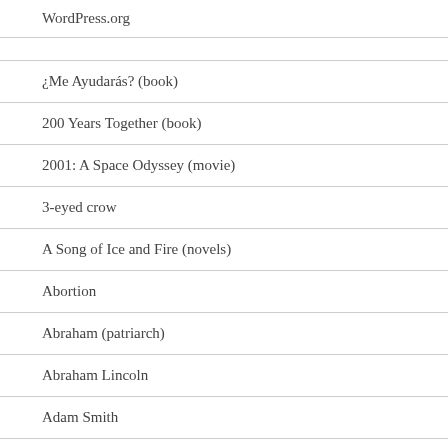WordPress.org
¿Me Ayudarás? (book)
200 Years Together (book)
2001: A Space Odyssey (movie)
3-eyed crow
A Song of Ice and Fire (novels)
Abortion
Abraham (patriarch)
Abraham Lincoln
Adam Smith
Adolf Hitler